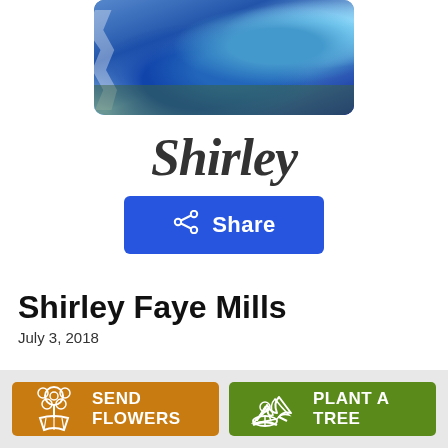[Figure (photo): Partial profile photo of a person wearing a blue floral patterned garment, photographed outdoors with green foliage in background. Photo is cropped at the top showing only the lower/middle portion of the image.]
Shirley
Share
Shirley Faye Mills
July 3, 2018
SEND FLOWERS
PLANT A TREE